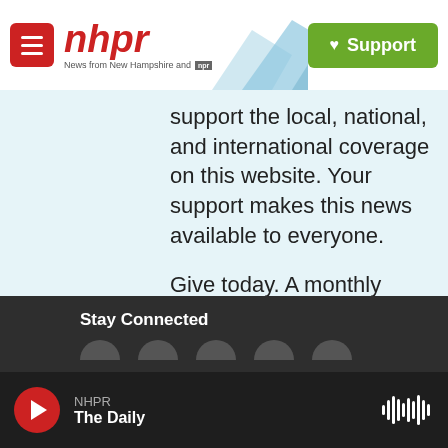[Figure (logo): NHPR logo with menu button, mountain/tower graphic, and Support button in header]
support the local, national, and international coverage on this website. Your support makes this news available to everyone.
Give today. A monthly donation of $5 makes a real difference.
Support NHPR
Stay Connected
NHPR
The Daily